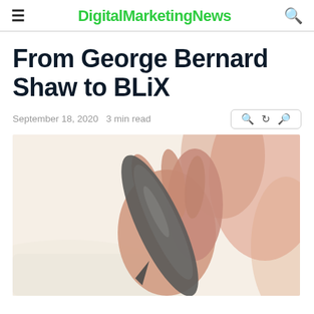DigitalMarketingNews
From George Bernard Shaw to BLiX
September 18, 2020  3 min read
[Figure (photo): Close-up of a hand holding a feather quill pen over paper, warm tones with blurred background]